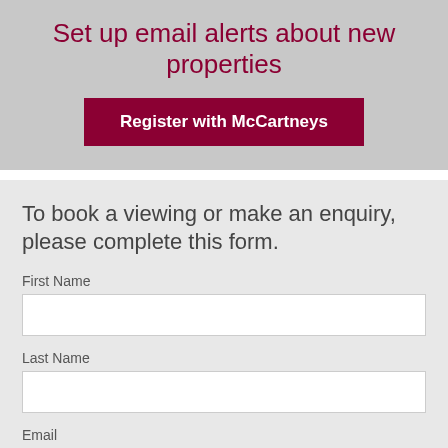Set up email alerts about new properties
Register with McCartneys
To book a viewing or make an enquiry, please complete this form.
First Name
Last Name
Email